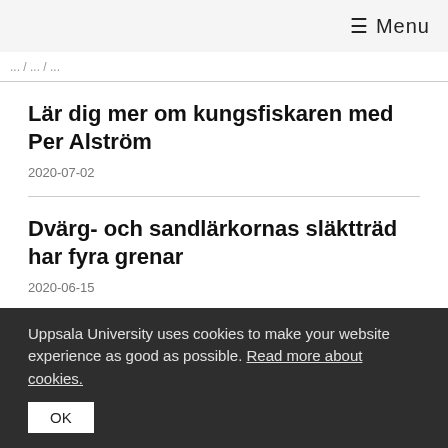≡ Menu
Lär dig mer om kungsfiskaren med Per Alström
2020-07-02
Dvärg- och sandlärkornas släktträd har fyra grenar
2020-06-15
Dvärg- och sandlärkorna bör betraktas som fyra olika arter istället för de två eller tre som är synsättet idag. Det föreslår en internationell forskargrupp, under ledning av forskarfå...
Uppsala University uses cookies to make your website experience as good as possible. Read more about cookies.